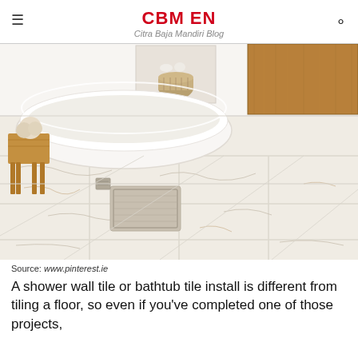CBM EN
Citra Baja Mandiri Blog
[Figure (photo): A modern bathroom with a freestanding white oval bathtub on marble tile flooring. A wooden bench sits to the left, and a woven basket is visible in a niche in the wall. Wooden cabinetry is on the right. A gray bath mat is placed on the marble floor in the center.]
Source: www.pinterest.ie
A shower wall tile or bathtub tile install is different from tiling a floor, so even if you've completed one of those projects,